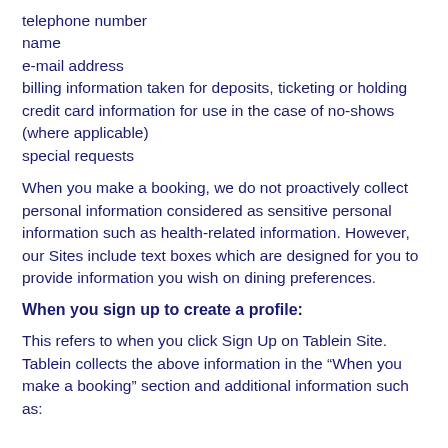telephone number
name
e-mail address
billing information taken for deposits, ticketing or holding credit card information for use in the case of no-shows (where applicable)
special requests
When you make a booking, we do not proactively collect personal information considered as sensitive personal information such as health-related information. However, our Sites include text boxes which are designed for you to provide information you wish on dining preferences.
When you sign up to create a profile:
This refers to when you click Sign Up on Tablein Site. Tablein collects the above information in the “When you make a booking” section and additional information such as: